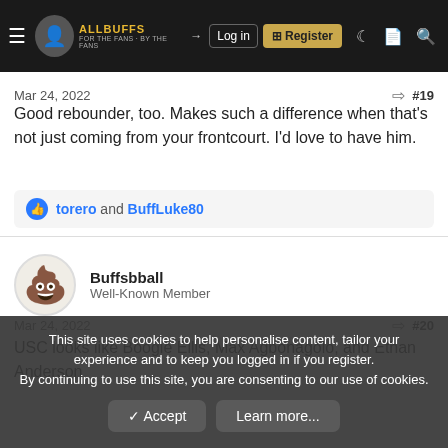AllBuffs.com navigation bar with Buffnik user, Log in, Register, and search icons
Mar 24, 2022 #19
Good rebounder, too. Makes such a difference when that's not just coming from your frontcourt. I'd love to have him.
torero and BuffLuke80
Buffsbball
Well-Known Member
Mar 24, 2022 #20
USC looks like Boogie Ellis, Max Agbonagolo, and Ethan Anderson
This site uses cookies to help personalise content, tailor your experience and to keep you logged in if you register.
By continuing to use this site, you are consenting to our use of cookies.